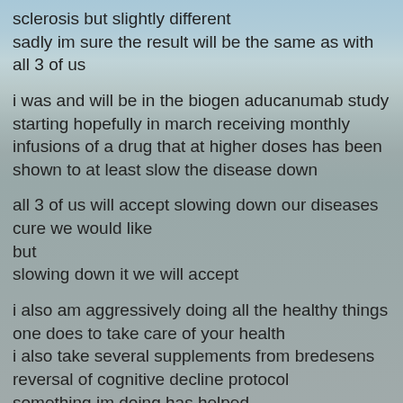sclerosis but slightly different
sadly im sure the result will be the same as with all 3 of us
i was and will be in the biogen aducanumab study starting hopefully in march receiving monthly infusions of a drug that at higher doses has been shown to at least slow the disease down
all 3 of us will accept slowing down our diseases
cure we would like
but
slowing down it we will accept
i also am aggressively doing all the healthy things one does to take care of your health
i also take several supplements from bredesens reversal of cognitive decline protocol
something im doing has helped
the person with huntingtons is also doing the same things i am doing
plus